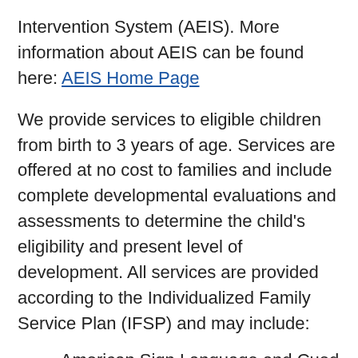Intervention System (AEIS). More information about AEIS can be found here: AEIS Home Page
We provide services to eligible children from birth to 3 years of age. Services are offered at no cost to families and include complete developmental evaluations and assessments to determine the child's eligibility and present level of development. All services are provided according to the Individualized Family Service Plan (IFSP) and may include:
American Sign Language and Cued Speech
Assistive Technology
Audiology Services
Family Training, Counseling, and Home Visits